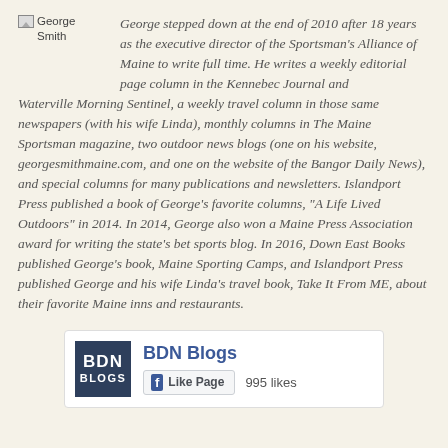[Figure (photo): Profile photo placeholder labeled 'George Smith']
George stepped down at the end of 2010 after 18 years as the executive director of the Sportsman's Alliance of Maine to write full time. He writes a weekly editorial page column in the Kennebec Journal and Waterville Morning Sentinel, a weekly travel column in those same newspapers (with his wife Linda), monthly columns in The Maine Sportsman magazine, two outdoor news blogs (one on his website, georgesmithmaine.com, and one on the website of the Bangor Daily News), and special columns for many publications and newsletters. Islandport Press published a book of George's favorite columns, "A Life Lived Outdoors" in 2014. In 2014, George also won a Maine Press Association award for writing the state's bet sports blog. In 2016, Down East Books published George's book, Maine Sporting Camps, and Islandport Press published George and his wife Linda's travel book, Take It From ME, about their favorite Maine inns and restaurants.
[Figure (screenshot): BDN Blogs Facebook Like Page widget showing BDN BLOGS logo, 'BDN Blogs' title in blue, Like Page button with Facebook icon, and 995 likes count]